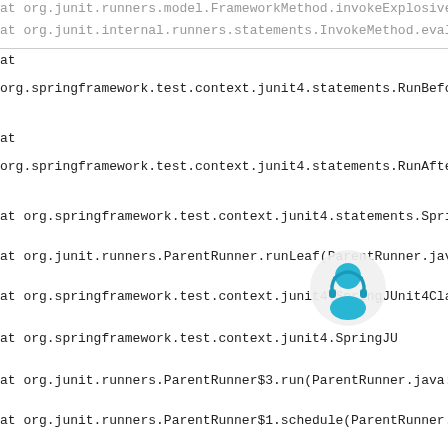at org.junit.runners.model.FrameworkMethod.invokeExplosively(Fra
at org.junit.internal.runners.statements.InvokeMethod.evaluate(In
at
org.springframework.test.context.junit4.statements.RunBeforeTestM
at
org.springframework.test.context.junit4.statements.RunAfterTestMe
at org.springframework.test.context.junit4.statements.SpringRepeat.e
at org.junit.runners.ParentRunner.runLeaf(ParentRunner.java:325)
at org.springframework.test.context.junit4.SpringJUnit4ClassRunner
at org.springframework.test.context.junit4.SpringJU Runner
at org.junit.runners.ParentRunner$3.run(ParentRunner.java:290)
at org.junit.runners.ParentRunner$1.schedule(ParentRunner.java:71